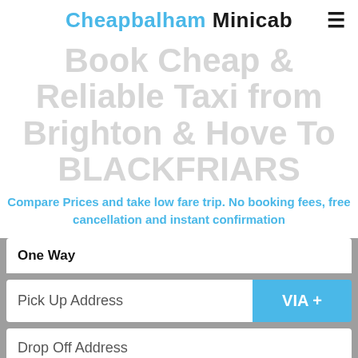Cheapbalham Minicab
Book Cheap & Reliable Taxi from Brighton & Hove To BLACKFRIARS
Compare Prices and take low fare trip. No booking fees, free cancellation and instant confirmation
One Way
Pick Up Address
VIA +
Drop Off Address